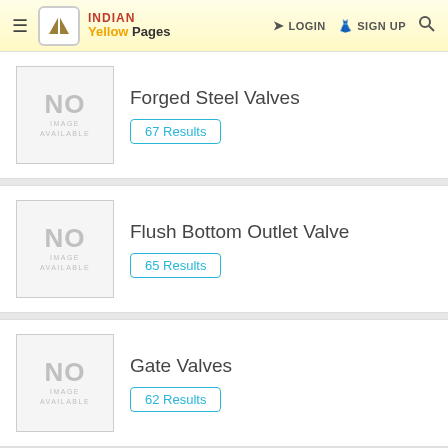Indian Yellow Pages — LOGIN   SIGN UP
Forged Steel Valves — 67 Results
Flush Bottom Outlet Valve — 65 Results
Gate Valves — 62 Results